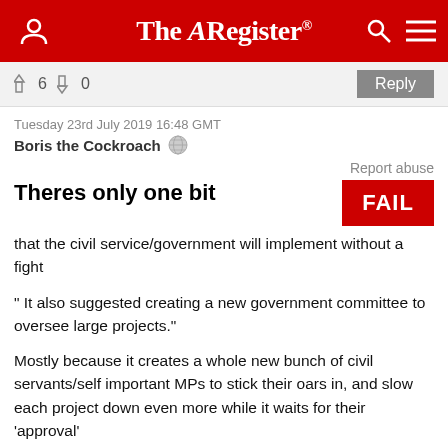The Register
6  0  Reply
Tuesday 23rd July 2019 16:48 GMT
Boris the Cockroach
Report abuse
Theres only one bit
[Figure (other): FAIL badge in red with white text]
that the civil service/government will implement without a fight
" It also suggested creating a new government committee to oversee large projects."
Mostly because it creates a whole new bunch of civil servants/self important MPs to stick their oars in, and slow each project down even more while it waits for their 'approval'
Or maybe I've watched too much yes minister lately